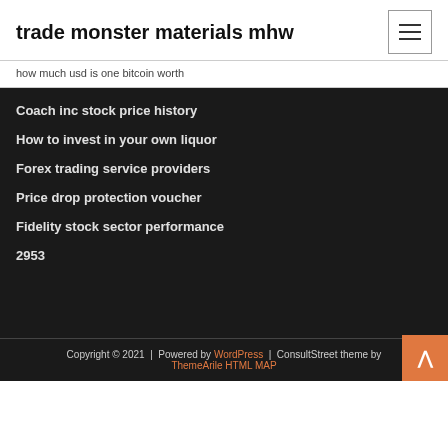trade monster materials mhw
how much usd is one bitcoin worth
Coach inc stock price history
How to invest in your own liquor
Forex trading service providers
Price drop protection voucher
Fidelity stock sector performance
2953
Copyright © 2021 | Powered by WordPress | ConsultStreet theme by ThemeArile HTML MAP